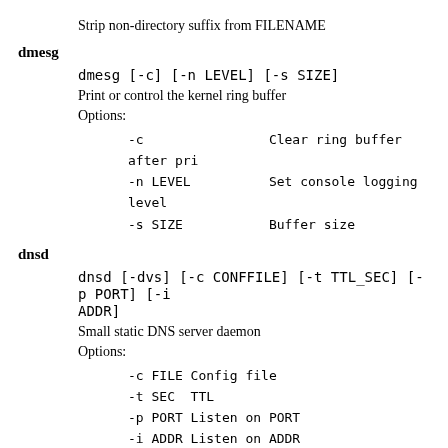Strip non-directory suffix from FILENAME
dmesg
dmesg [-c] [-n LEVEL] [-s SIZE]
Print or control the kernel ring buffer
Options:
-c                Clear ring buffer after pri
-n LEVEL          Set console logging level
-s SIZE           Buffer size
dnsd
dnsd [-dvs] [-c CONFFILE] [-t TTL_SEC] [-p PORT] [-i ADDR]
Small static DNS server daemon
Options:
-c FILE Config file
-t SEC  TTL
-p PORT Listen on PORT
-i ADDR Listen on ADDR